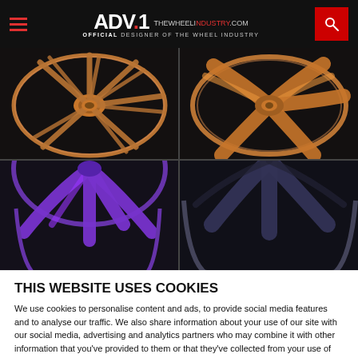ADV.1 - OFFICIAL DESIGNER OF THE WHEEL INDUSTRY
[Figure (photo): Four ADV.1 custom wheels shown in a 2x2 grid: top-left and top-right are bronze/gold multi-spoke wheels; bottom-left is a purple wheel; bottom-right is a dark/gunmetal wheel]
THIS WEBSITE USES COOKIES
We use cookies to personalise content and ads, to provide social media features and to analyse our traffic. We also share information about your use of our site with our social media, advertising and analytics partners who may combine it with other information that you've provided to them or that they've collected from your use of their services.
OK
Show details